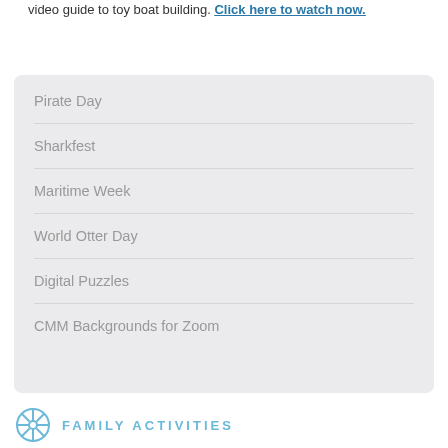video guide to toy boat building. Click here to watch now.
Pirate Day
Sharkfest
Maritime Week
World Otter Day
Digital Puzzles
CMM Backgrounds for Zoom
FAMILY ACTIVITIES